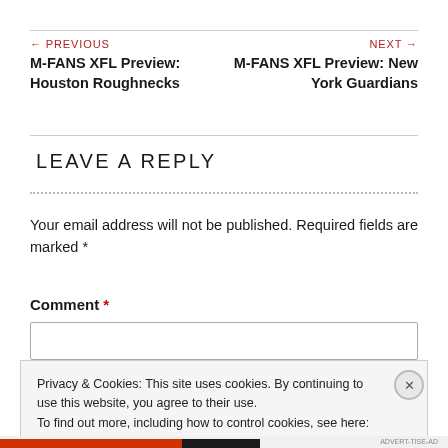← PREVIOUS
M-FANS XFL Preview: Houston Roughnecks
NEXT →
M-FANS XFL Preview: New York Guardians
LEAVE A REPLY
Your email address will not be published. Required fields are marked *
Comment *
Privacy & Cookies: This site uses cookies. By continuing to use this website, you agree to their use.
To find out more, including how to control cookies, see here: Cookie Policy
Close and accept